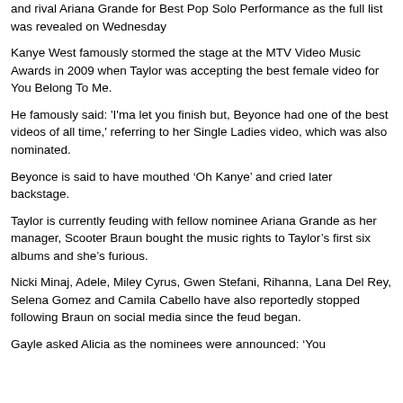and rival Ariana Grande for Best Pop Solo Performance as the full list was revealed on Wednesday
Kanye West famously stormed the stage at the MTV Video Music Awards in 2009 when Taylor was accepting the best female video for You Belong To Me.
He famously said: 'I'ma let you finish but, Beyonce had one of the best videos of all time,' referring to her Single Ladies video, which was also nominated.
Beyonce is said to have mouthed ‘Oh Kanye’ and cried later backstage.
Taylor is currently feuding with fellow nominee Ariana Grande as her manager, Scooter Braun bought the music rights to Taylor’s first six albums and she’s furious.
Nicki Minaj, Adele, Miley Cyrus, Gwen Stefani, Rihanna, Lana Del Rey, Selena Gomez and Camila Cabello have also reportedly stopped following Braun on social media since the feud began.
Gayle asked Alicia as the nominees were announced: 'You